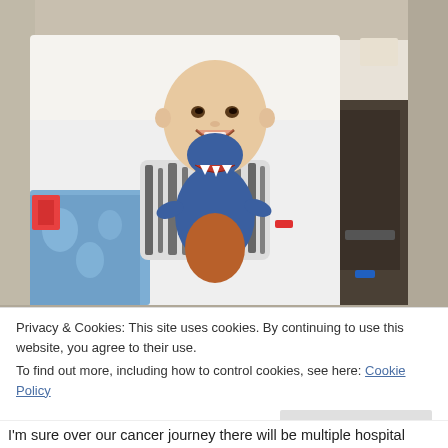[Figure (photo): A young bald child (likely undergoing cancer treatment) sitting up in a hospital bed, smiling and holding a large blue and orange dinosaur stuffed animal/toy. The child wears a black and white zebra-print shirt and has a red hospital ID band on their wrist. A blue dinosaur-print blanket is visible. The hospital bed has white sheets and pillows.]
Privacy & Cookies: This site uses cookies. By continuing to use this website, you agree to their use.
To find out more, including how to control cookies, see here: Cookie Policy
Close and accept
I'm sure over our cancer journey there will be multiple hospital